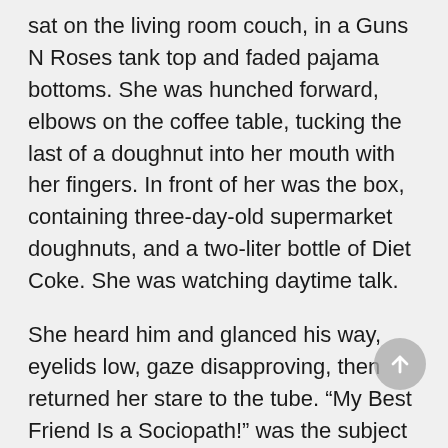sat on the living room couch, in a Guns N Roses tank top and faded pajama bottoms. She was hunched forward, elbows on the coffee table, tucking the last of a doughnut into her mouth with her fingers. In front of her was the box, containing three-day-old supermarket doughnuts, and a two-liter bottle of Diet Coke. She was watching daytime talk.
She heard him and glanced his way, eyelids low, gaze disapproving, then returned her stare to the tube. “My Best Friend Is a Sociopath!” was the subject of today’s program. Flabby rednecks were getting ready to throw chairs at one another.
She hadn’t noticed the horns.